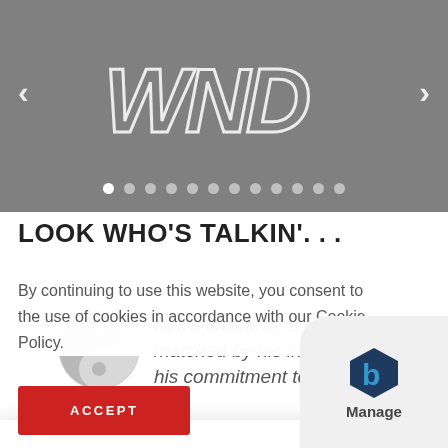[Figure (screenshot): Slider/carousel banner with WND logo on gray background, left and right navigation arrows, and pagination dots at the bottom.]
LOOK WHO'S TALKIN'...
[Figure (illustration): Yin-yang symbol in light gray tones used as a testimonial avatar.]
Kirk's brilliance is only matched by his integrity and...
By continuing to use this website, you consent to the use of cookies in accordance with our Cookie Policy.
ACCEPT
[Figure (logo): Blue hexagonal 'b' logo with 'Manage' text below, on a curled paper corner graphic.]